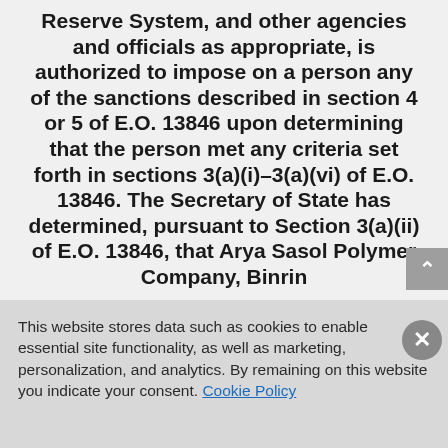Reserve System, and other agencies and officials as appropriate, is authorized to impose on a person any of the sanctions described in section 4 or 5 of E.O. 13846 upon determining that the person met any criteria set forth in sections 3(a)(i)–3(a)(vi) of E.O. 13846. The Secretary of State has determined, pursuant to Section 3(a)(ii) of E.O. 13846, that Arya Sasol Polymer Company, Binrin
This website stores data such as cookies to enable essential site functionality, as well as marketing, personalization, and analytics. By remaining on this website you indicate your consent. Cookie Policy